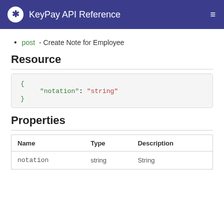KeyPay API Reference
post - Create Note for Employee
Resource
Properties
| Name | Type | Description |
| --- | --- | --- |
| notation | string | String |